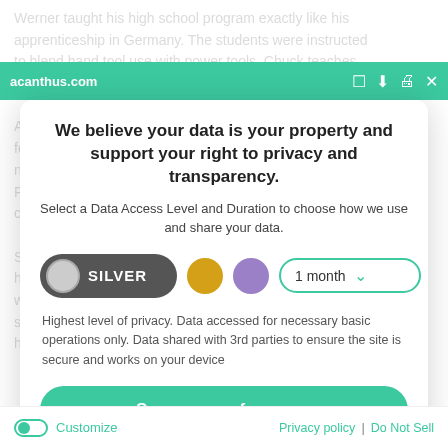Werner taught his high school program exactly like his apprenticeship in Germany. The students were instructed to blend hand tool use with power tools. Chuck teaches that quality still constructed. After graduation from high school Chuck began working for a furniture business in Pennsylvania making open nearly ten years working with Iron Company Furniture makers, working his way up to head of case and chair production. Chuck decides to branch off on his own. Since 1991 Chuck has built a reputation for making the highest quality 18th Century furniture in the country. His work can be seen at numerous exhibitions, and at some of the finest juried craft shows in the country. Chuck has received numerous woodworking awards throughout
acanthus.com
We believe your data is your property and support your right to privacy and transparency.
Select a Data Access Level and Duration to choose how we use and share your data.
SILVER | 1 month
Highest level of privacy. Data accessed for necessary basic operations only. Data shared with 3rd parties to ensure the site is secure and works on your device
Save my preferences
Customize | Privacy policy | Do Not Sell